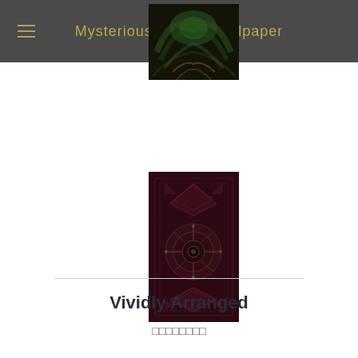Mysterious iPhone Wallpaper
[Figure (photo): Green fractal mirrored abstract wallpaper image with dark background]
[Figure (photo): Dark red/maroon mandala or kaleidoscopic patterned wallpaper image, portrait orientation]
Vividly Arranged
□□□□□□□□